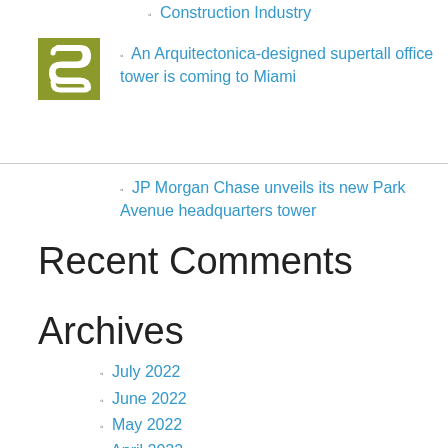[Figure (logo): Green square logo with white stylized S shape]
Construction Industry
An Arquitectonica-designed supertall office tower is coming to Miami
JP Morgan Chase unveils its new Park Avenue headquarters tower
Recent Comments
Archives
July 2022
June 2022
May 2022
April 2022
January 2022